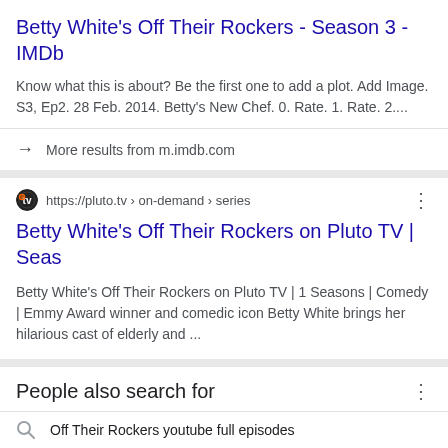Betty White's Off Their Rockers - Season 3 - IMDb
Know what this is about? Be the first one to add a plot. Add Image. S3, Ep2. 28 Feb. 2014. Betty's New Chef. 0. Rate. 1. Rate. 2....
More results from m.imdb.com
https://pluto.tv › on-demand › series
Betty White's Off Their Rockers on Pluto TV | Seas
Betty White's Off Their Rockers on Pluto TV | 1 Seasons | Comedy | Emmy Award winner and comedic icon Betty White brings her hilarious cast of elderly and ...
People also search for
Off Their Rockers youtube full episodes